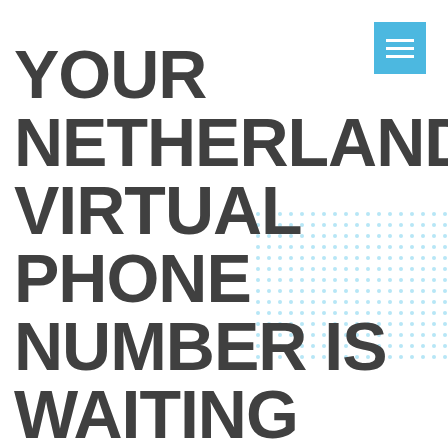[Figure (other): Blue square button with three horizontal white lines (hamburger/menu icon)]
[Figure (other): Decorative dot pattern in light blue arranged in a rectangular grid, overlapping the title text on the right side]
YOUR NETHERLANDS VIRTUAL PHONE NUMBER IS WAITING